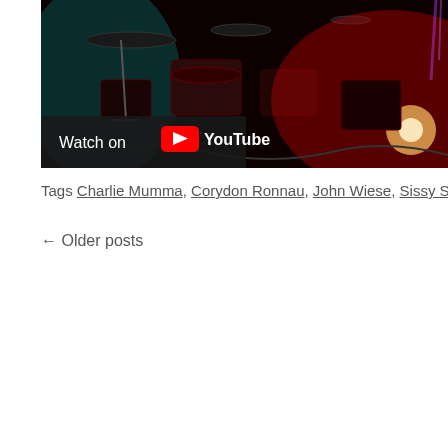[Figure (photo): A drum kit on stage lit with red and teal stage lighting. A 'Watch on YouTube' overlay appears in the lower left corner of the image.]
Tags Charlie Mumma, Corydon Ronnau, John Wiese, Sissy Spacek, Vancouv…
← Older posts